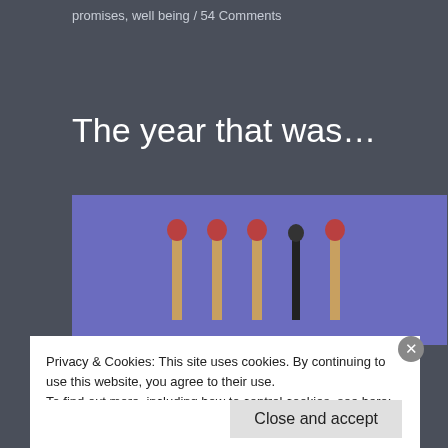promises, well being / 54 Comments
The year that was…
[Figure (photo): Five matchsticks standing upright on a purple background. Four have reddish-brown heads and one (second from right) is burned black. The matches are arranged in a row.]
Privacy & Cookies: This site uses cookies. By continuing to use this website, you agree to their use.
To find out more, including how to control cookies, see here: Cookie Policy
Close and accept